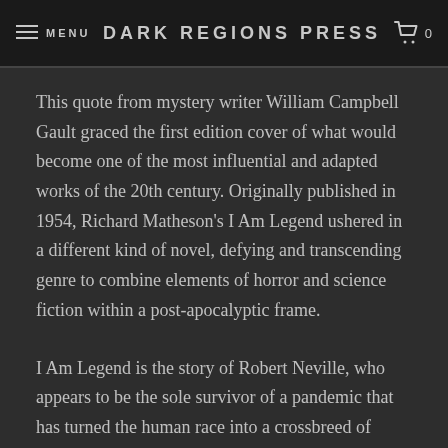MENU | Dark Regions Press | 0
This quote from mystery writer William Campbell Gault graced the first edition cover of what would become one of the most influential and adapted works of the 20th century. Originally published in 1954, Richard Matheson's I Am Legend ushered in a different kind of novel, defying and transcending genre to combine elements of horror and science fiction within a post-apocalyptic frame.
I Am Legend is the story of Robert Neville, who appears to be the sole survivor of a pandemic that has turned the human race into a crossbreed of zombies and vampires. Robert must hunt by day, hide by night, and